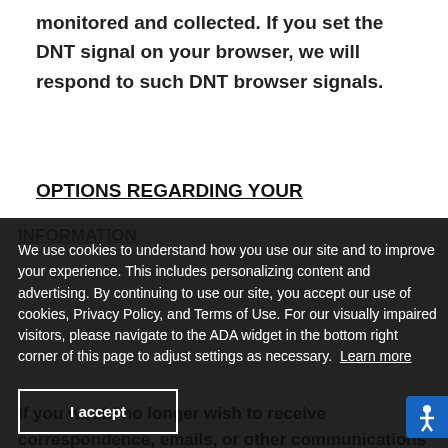about your online browsing activities monitored and collected. If you set the DNT signal on your browser, we will respond to such DNT browser signals.
OPTIONS REGARDING YOUR INFORMATION
We use cookies to understand how you use our site and to improve your experience. This includes personalizing content and advertising. By continuing to use our site, you accept our use of cookies, Privacy Policy, and Terms of Use. For our visually impaired visitors, please navigate to the ADA widget in the bottom right corner of this page to adjust settings as necessary. Learn more
If you would no longer wish to receive correspondence, emails, or other communications from us, you may opt-out